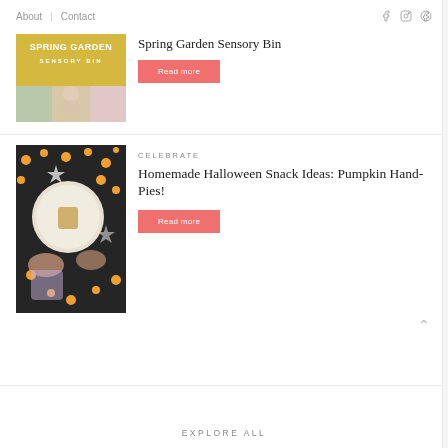About  |  Contact
[Figure (photo): Spring Garden Sensory Bin blog post thumbnail image with yellow/gold text overlay reading SPRING GARDEN SENSORY BIN]
Spring Garden Sensory Bin
Read more
[Figure (photo): Overhead photo of Halloween pumpkin hand pies on a plate with candy corn and other Halloween decorations on a dark background]
CELEBRATE
Homemade Halloween Snack Ideas: Pumpkin Hand-Pies!
Read more
EXPLORE ALL